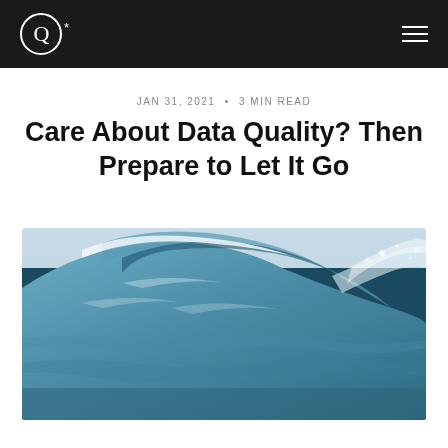Q* (logo) navigation bar
JAN 31, 2021 • 3 MIN READ
Care About Data Quality? Then Prepare to Let It Go
[Figure (photo): Aerial or close-up photo of a large ocean wave breaking, showing blue-green water curling with white foam and spray]